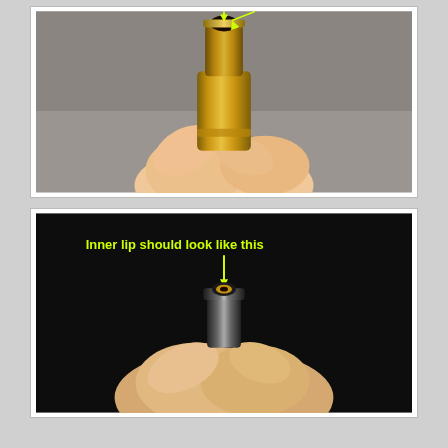[Figure (photo): Close-up photo of a hand holding a brass fitting/coupling. A yellow arrow points to the top opening of the fitting. The fitting is cylindrical and brass-colored.]
[Figure (photo): Close-up photo of a hand holding a small dark metallic fitting against a black background. Yellow text reads 'Inner lip should look like this' with a yellow arrow pointing down to the inner lip of the fitting.]